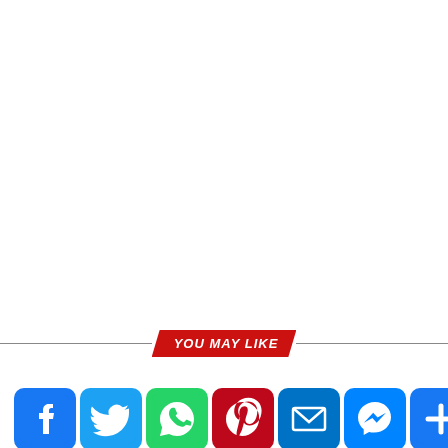YOU MAY LIKE
[Figure (infographic): Social media share buttons row: Facebook, Twitter, WhatsApp, Pinterest, Email, Messenger, More (plus icon)]